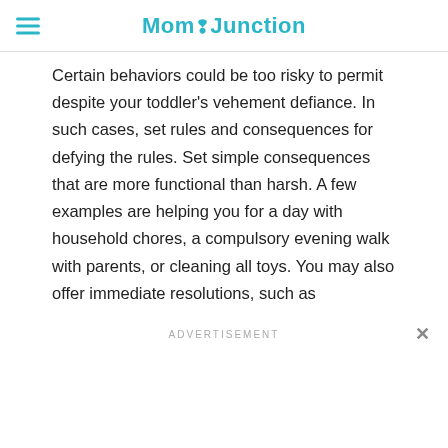MomJunction
Certain behaviors could be too risky to permit despite your toddler's vehement defiance. In such cases, set rules and consequences for defying the rules. Set simple consequences that are more functional than harsh. A few examples are helping you for a day with household chores, a compulsory evening walk with parents, or cleaning all toys. You may also offer immediate resolutions, such as
ADVERTISEMENT